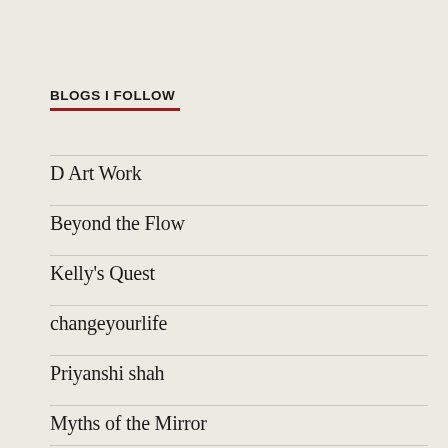BLOGS I FOLLOW
D Art Work
Beyond the Flow
Kelly's Quest
changeyourlife
Priyanshi shah
Myths of the Mirror
willow dot21